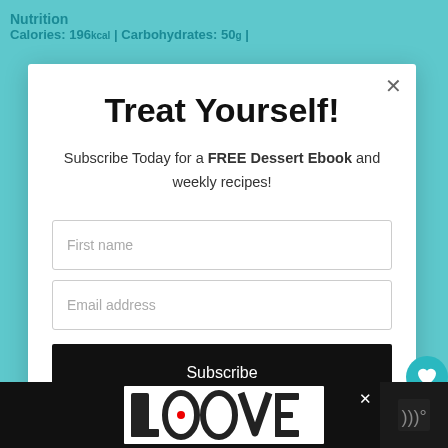Nutrition
Calories: 196kcal | Carbohydrates: 50g |
Treat Yourself!
Subscribe Today for a FREE Dessert Ebook and weekly recipes!
First name
Email address
Subscribe
52
WHAT'S NEXT → Southern Peach Cobbl...
[Figure (logo): LOOVE decorative text logo with illustrated letters]
×